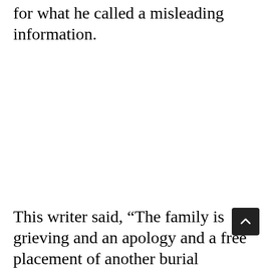for what he called a misleading information.
This writer said, “The family is grieving and an apology and a free placement of another burial